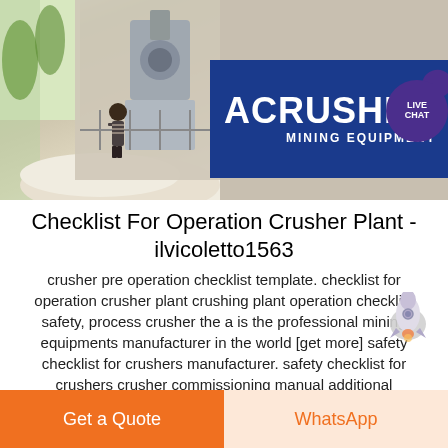[Figure (photo): Left: Industrial crusher plant interior with worker standing near machinery and white crushed material pile. Right: ACRUSHER Mining Equipment brand logo with blue triangle icon on dark blue background.]
Checklist For Operation Crusher Plant - ilvicoletto1563
crusher pre operation checklist template. checklist for operation crusher plant crushing plant operation checklist safety, process crusher the a is the professional mining equipments manufacturer in the world [get more] safety checklist for crushers manufacturer. safety checklist for crushers crusher commissioning manual additional precautions may
Get a Quote
WhatsApp